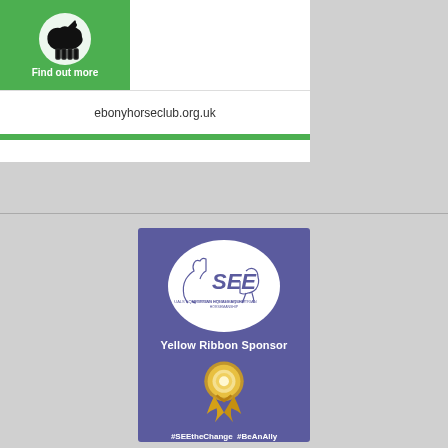[Figure (logo): Ebony Horse Club logo banner with green background, horse silhouette, 'Find out more' text, and website URL ebonyhorseclub.org.uk]
[Figure (infographic): SEE (Sporting Equals Equestrian) Yellow Ribbon Sponsor badge on purple background with circular SEE logo at top, yellow rosette ribbon award image, and hashtags #SEEtheChange #BeAnAlly at bottom]